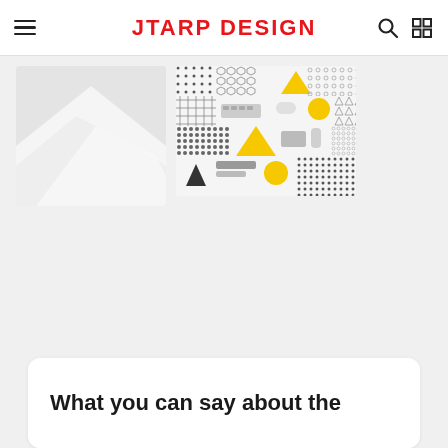JTARP DESIGN
[Figure (screenshot): Website screenshot showing a design blog header with logo 'JTARP DESIGN' in red, hamburger menu, search and grid icons, and two thumbnail images of design content below.]
What you can say about the